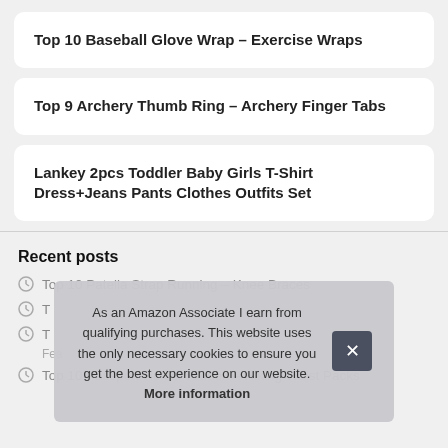Top 10 Baseball Glove Wrap – Exercise Wraps
Top 9 Archery Thumb Ring – Archery Finger Tabs
Lankey 2pcs Toddler Baby Girls T-Shirt Dress+Jeans Pants Clothes Outfits Set
Recent posts
Top 10 Patella Strap Running – Knee Braces
T…
T…
Fea…
Top 10 Passport Holder Hidden – Hiking Waist Packs
As an Amazon Associate I earn from qualifying purchases. This website uses the only necessary cookies to ensure you get the best experience on our website. More information